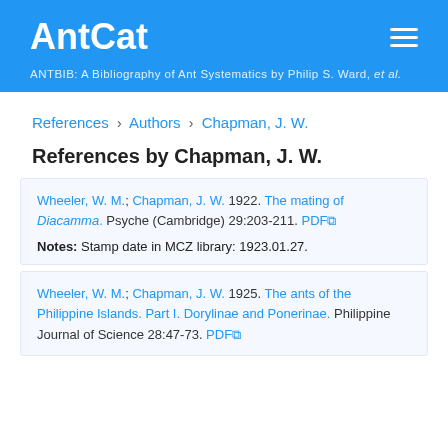AntCat
ANTBIB: A Bibliography of Ant Systematics by Philip S. Ward, et al.
References › Authors › Chapman, J. W.
References by Chapman, J. W.
Wheeler, W. M.; Chapman, J. W. 1922. The mating of Diacamma. Psyche (Cambridge) 29:203-211. PDF
Notes: Stamp date in MCZ library: 1923.01.27.
Wheeler, W. M.; Chapman, J. W. 1925. The ants of the Philippine Islands. Part I. Dorylinae and Ponerinae. Philippine Journal of Science 28:47-73. PDF